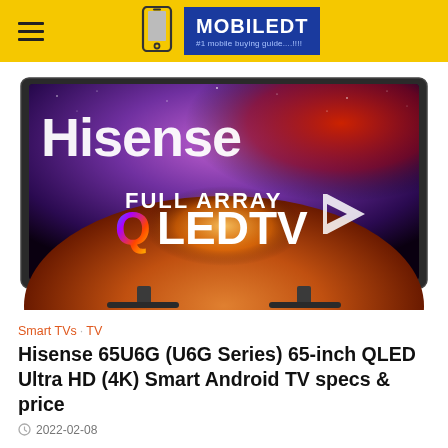MOBILEDT #1 mobile buying guide....!!!!
[Figure (photo): Hisense 65-inch Full Array QLED TV product promotional image showing the TV screen with 'Hisense' branding and 'FULL ARRAY QLED TV' text on a space/planet background with purple and red hues. The TV is shown on its stand against a white background.]
Smart TVs · TV
Hisense 65U6G (U6G Series) 65-inch QLED Ultra HD (4K) Smart Android TV specs & price
2022-02-08